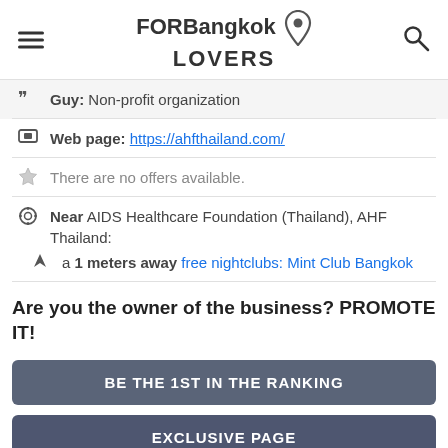FORBangkok LOVERS
Guy: Non-profit organization
Web page: https://ahfthailand.com/
There are no offers available.
Near AIDS Healthcare Foundation (Thailand), AHF Thailand:
a 1 meters away free nightclubs: Mint Club Bangkok
Are you the owner of the business? PROMOTE IT!
BE THE 1ST IN THE RANKING
EXCLUSIVE PAGE